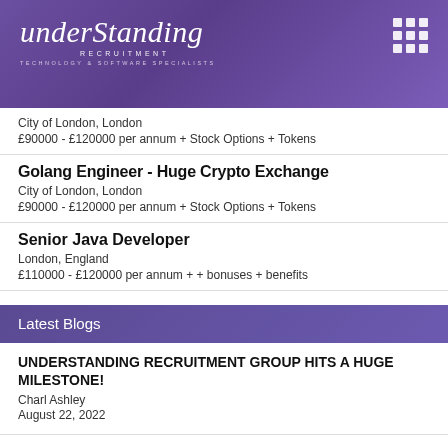understanding RECRUITMENT TECHNOLOGY & SOFTWARE SPECIALISTS
City of London, London
£90000 - £120000 per annum + Stock Options + Tokens
Golang Engineer - Huge Crypto Exchange
City of London, London
£90000 - £120000 per annum + Stock Options + Tokens
Senior Java Developer
London, England
£110000 - £120000 per annum + + bonuses + benefits
Latest Blogs
UNDERSTANDING RECRUITMENT GROUP HITS A HUGE MILESTONE!
Charl Ashley
August 22, 2022
2022 FUNDRAISING: REVEALING OUR THREE MAIN CHARITIES & TOTAL RAISED SO FAR!